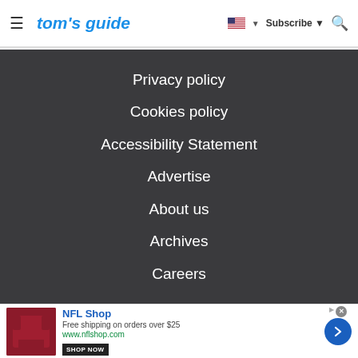tom's guide — Subscribe — Search
Privacy policy
Cookies policy
Accessibility Statement
Advertise
About us
Archives
Careers
[Figure (screenshot): NFL Shop advertisement banner showing red jersey, 'Free shipping on orders over $25', www.nflshop.com, SHOP NOW button, blue arrow button]